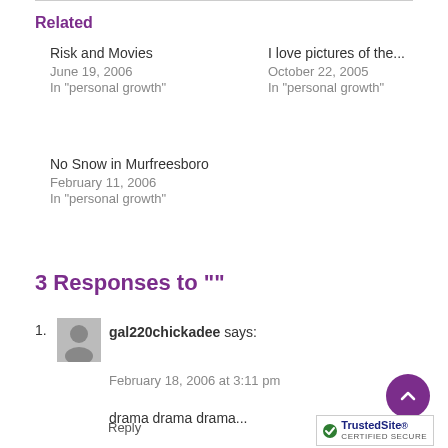Related
Risk and Movies
June 19, 2006
In "personal growth"
I love pictures of the...
October 22, 2005
In "personal growth"
No Snow in Murfreesboro
February 11, 2006
In "personal growth"
3 Responses to ""
gal220chickadee says:
February 18, 2006 at 3:11 pm
drama drama drama...
i love you so very, very much.
Reply